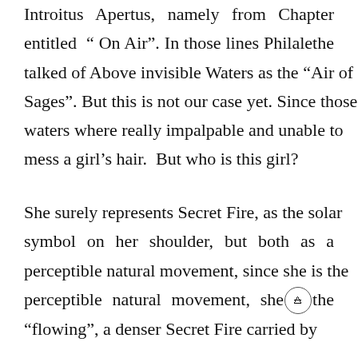Introitus Apertus, namely from Chapter entitled “ On Air”. In those lines Philalethe talked of Above invisible Waters as the “Air of Sages”. But this is not our case yet. Since those waters where really impalpable and unable to mess a girl’s hair.  But who is this girl?
She surely represents Secret Fire, as the solar symbol on her shoulder, but both as a perceptible natural movement, since she is the perceptible natural movement, she is the “flowing”, a denser Secret Fire carried by